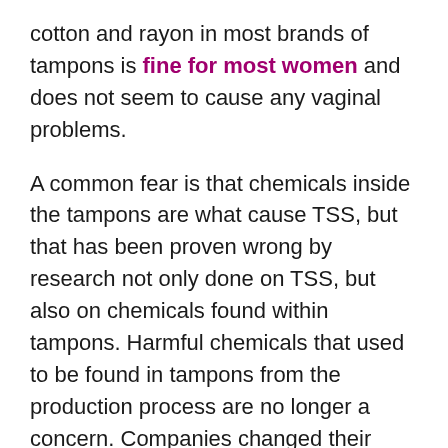cotton and rayon in most brands of tampons is fine for most women and does not seem to cause any vaginal problems.
A common fear is that chemicals inside the tampons are what cause TSS, but that has been proven wrong by research not only done on TSS, but also on chemicals found within tampons. Harmful chemicals that used to be found in tampons from the production process are no longer a concern. Companies changed their manufacturing processes in the 1990's, eliminating the use of chlorine in the rayon bleaching process. This has significantly cut down on any dioxins (carcinogenic chemicals) that were present while the chlorine process was still being used. Modern day testing of products shows they contain minute,